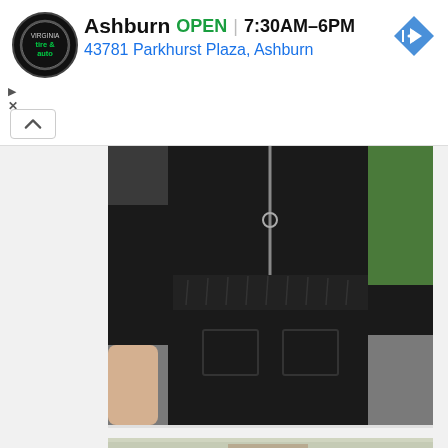[Figure (screenshot): Mobile web advertisement banner for Virginia Tire & Auto showing Ashburn location. Logo: black circular badge with 'tire & auto' text. Business name 'Ashburn' in bold black, 'OPEN' in green, '7:30AM–6PM' in black bold, blue address '43781 Parkhurst Plaza, Ashburn'. Blue diamond navigation arrow icon on right. Small play and X icons on left margin. White background.]
[Figure (photo): Close-up photo of a person wearing a black zip-up short-sleeved romper/jumpsuit with elastic waist and two front pockets. Background shows a road and green trees. Person is outdoors.]
[Figure (photo): Photo of a smiling woman with glasses and hair up in a bun, wearing a beige/tan open cardigan over a blue plaid shirt. She is standing outdoors in front of lush green trees and foliage.]